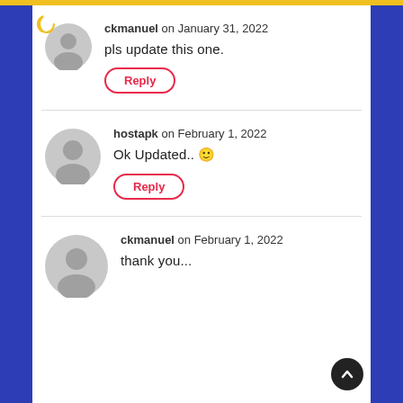ckmanuel on January 31, 2022
pls update this one.
[Reply]
hostapk on February 1, 2022
Ok Updated.. 🙂
[Reply]
ckmanuel on February 1, 2022
thank you...